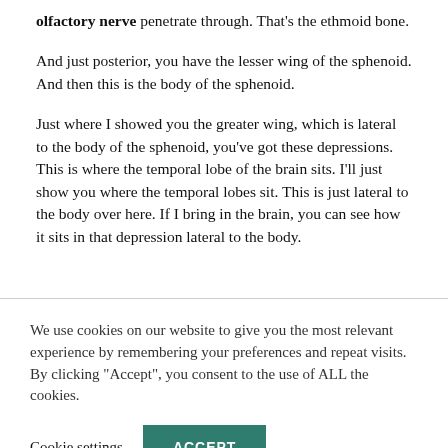olfactory nerve penetrate through.  That's the ethmoid bone.
And just posterior, you have the lesser wing of the sphenoid. And then this is the body of the sphenoid.
Just where I showed you the greater wing, which is lateral to the body of the sphenoid, you've got these depressions. This is where the temporal lobe of the brain sits.   I'll just show you where the temporal lobes sit. This is just lateral to the body over here. If I bring in the brain, you can see how it sits in that depression lateral to the body.
We use cookies on our website to give you the most relevant experience by remembering your preferences and repeat visits. By clicking "Accept", you consent to the use of ALL the cookies.
Cookie settings
ACCEPT